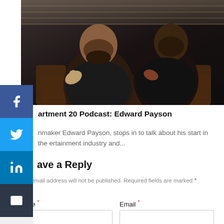[Figure (photo): Two men sitting on a couch giving thumbs up, wearing black shirts, against a brick wall background]
artment 20 Podcast: Edward Payson
nmaker Edward Payson, stops in to talk about his start in the ertainment industry and...
ave a Reply
Your email address will not be published. Required fields are marked *
Name *
Email *